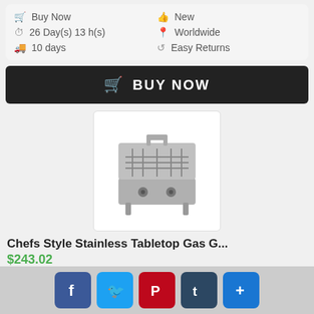Buy Now
New
26 Day(s) 13 h(s)
Worldwide
10 days
Easy Returns
BUY NOW
[Figure (photo): Stainless steel tabletop gas grill with open lid, showing grill grates and two control knobs]
Chefs Style Stainless Tabletop Gas G...
$243.02
Buy Now
New